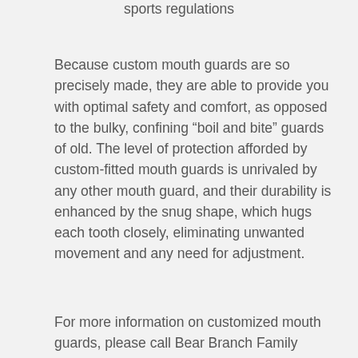sports regulations
Because custom mouth guards are so precisely made, they are able to provide you with optimal safety and comfort, as opposed to the bulky, confining “boil and bite” guards of old. The level of protection afforded by custom-fitted mouth guards is unrivaled by any other mouth guard, and their durability is enhanced by the snug shape, which hugs each tooth closely, eliminating unwanted movement and any need for adjustment.
For more information on customized mouth guards, please call Bear Branch Family Dentistry at 281-419-2327 today